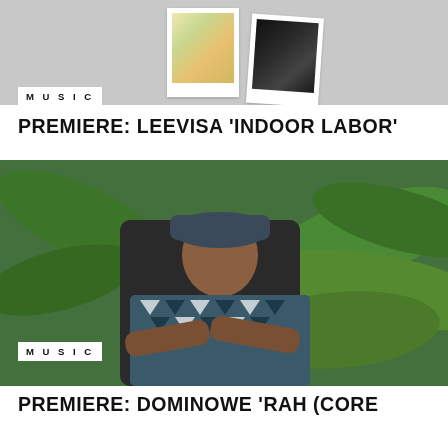[Figure (photo): Two polaroid photos on light grey background showing flowers and a dark subject]
MUSIC
PREMIERE: LEEVISA 'INDOOR LABOR'
[Figure (photo): Portrait photo of a young man in patterned t-shirt and bucket hat, arms crossed, against tropical green leaves background]
MUSIC
PREMIERE: DOMINOWE 'RAH (CORE